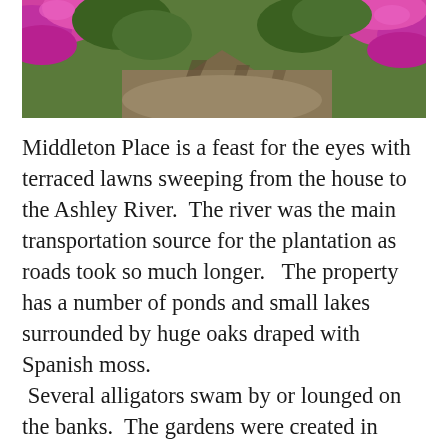[Figure (photo): Photo of azalea flowers in bright magenta/pink color with green foliage and a shadowed path, taken at Middleton Place garden.]
Middleton Place is a feast for the eyes with terraced lawns sweeping from the house to the Ashley River.  The river was the main transportation source for the plantation as roads took so much longer.   The property has a number of ponds and small lakes surrounded by huge oaks draped with Spanish moss.  Several alligators swam by or lounged on the banks.  The gardens were created in 1741 and continued to expand and change over the years.  Azaleas were not introduced to South Carolina and grown here until about the 1840's.  There are now over 100,000 of them on this